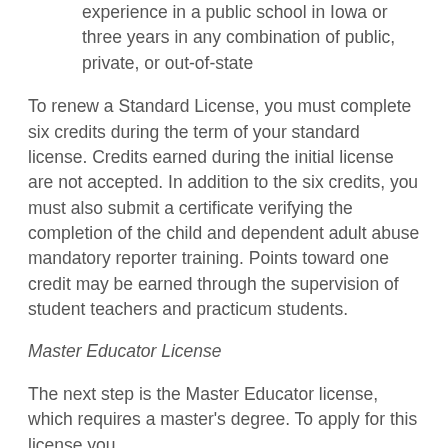experience in a public school in Iowa or three years in any combination of public, private, or out-of-state
To renew a Standard License, you must complete six credits during the term of your standard license. Credits earned during the initial license are not accepted. In addition to the six credits, you must also submit a certificate verifying the completion of the child and dependent adult abuse mandatory reporter training. Points toward one credit may be earned through the supervision of student teachers and practicum students.
Master Educator License
The next step is the Master Educator license, which requires a master's degree. To apply for this license you